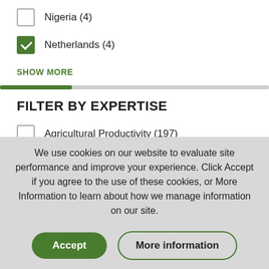Nigeria (4)
Netherlands (4)
SHOW MORE
FILTER BY EXPERTISE
Agricultural Productivity (197)
Monitoring, Evaluation, and Learning (148)
We use cookies on our website to evaluate site performance and improve your experience. Click Accept if you agree to the use of these cookies, or More Information to learn about how we manage information on our site.